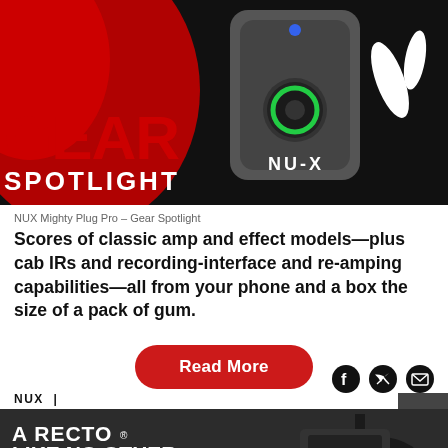[Figure (photo): Hero banner image showing GEAR SPOTLIGHT text with NUX Mighty Plug Pro device on dark background with guitar elements]
NUX Mighty Plug Pro – Gear Spotlight
Scores of classic amp and effect models—plus cab IRs and recording-interface and re-amping capabilities—all from your phone and a box the size of a pack of gum.
Read More
NUX |
[Figure (photo): Mesa/Boogie advertisement: A RECTO LIKE NO OTHER — THE BADLANDER SERIES. LEARN MORE. Shows guitar amp head with electric guitar on dark background.]